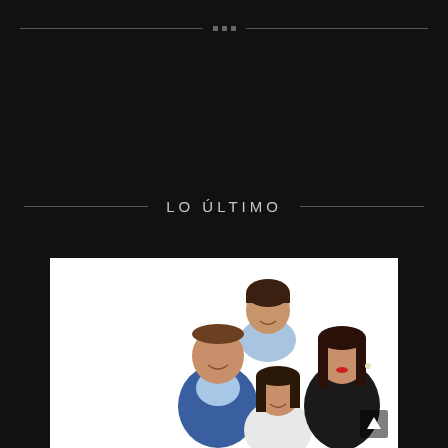• • •
LO ÚLTIMO
[Figure (photo): Family portrait on white background: a bald father in a blue blazer, a teenage boy in a light blue shirt leaning over from behind, a young girl with dark hair smiling in front, and a woman with dark hair wearing a black jacket with red lipstick, all smiling together.]